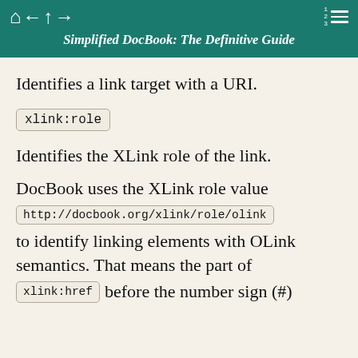Simplified DocBook: The Definitive Guide
Identifies a link target with a URI.
xlink:role
Identifies the XLink role of the link.
DocBook uses the XLink role value http://docbook.org/xlink/role/olink to identify linking elements with OLink semantics. That means the part of xlink:href before the number sign (#)